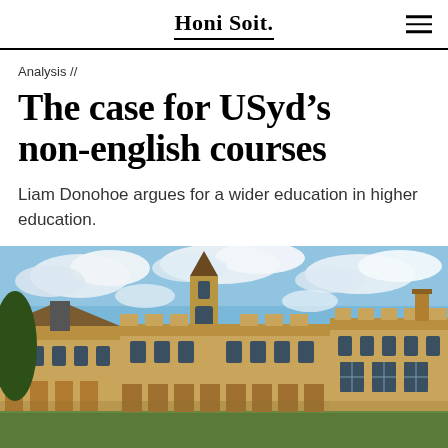Honi Soit.
Analysis //
The case for USyd’s non‑english courses
Liam Donohoe argues for a wider education in higher education.
[Figure (photo): Photograph of the University of Sydney sandstone quadrangle buildings under a blue sky with white clouds. Gothic Revival architecture with arched colonnades, pointed spires, and ornate stonework visible.]